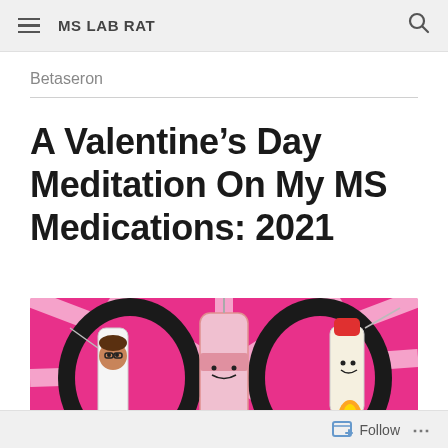MS LAB RAT
Betaseron
A Valentine’s Day Meditation On My MS Medications: 2021
[Figure (illustration): Cartoon illustration of three anthropomorphized MS medication syringes/injectors as characters, posed in front of a bright pink starburst background with black and white diagonal stripes. The characters have faces and accessories, rendered in a comic/cartoon style.]
Follow ...